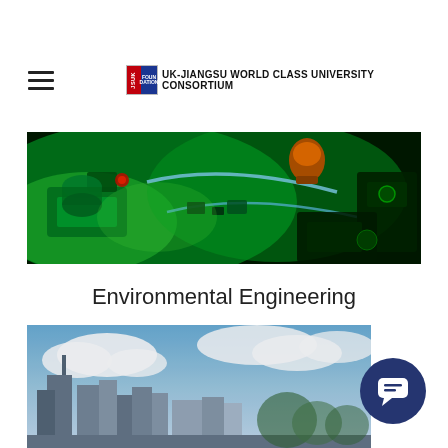UK-JIANGSU WORLD CLASS UNIVERSITY CONSORTIUM
[Figure (photo): Close-up photo of green-lit scientific/engineering equipment or machinery, possibly laser optics or electronic hardware, bathed in green light with an orange component visible.]
Environmental Engineering
[Figure (photo): Photo of a city skyline with tall buildings against a blue sky with white clouds, partially visible at the bottom of the page.]